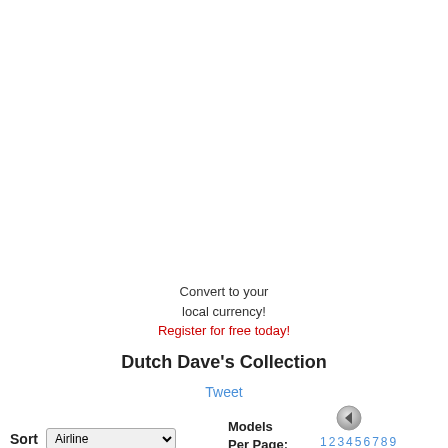Convert to your local currency!
Register for free today!
Dutch Dave's Collection
Tweet
Models Per Page:
1 2 3 4 5 6 7 8 9 10 11 12 13 14 15 16 17 18 19 20 21 22 23 24 25
Sort  Airline